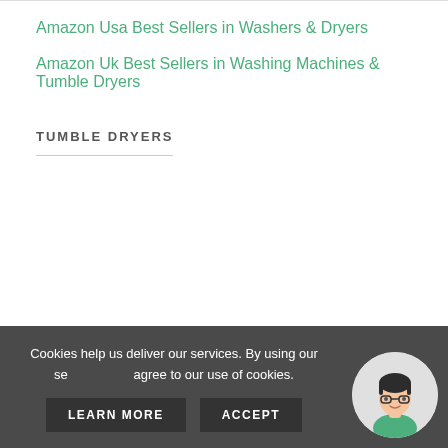Amazon Usa Best Sellers in Washers & Dryers
Amazon Uk Best Sellers in Washing Machines & Tumble Dryers
TUMBLE DRYERS
Cookies help us deliver our services. By using our services, you agree to our use of cookies.